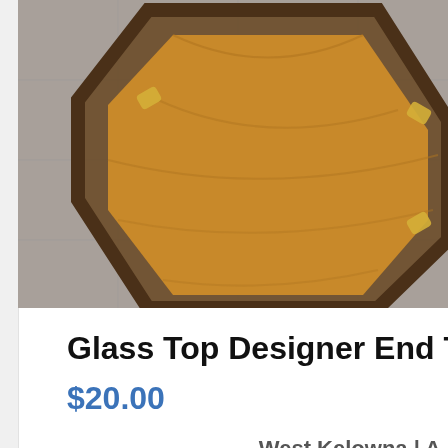[Figure (photo): Top-down view of a wooden hexagonal end table with glass top and brass corner accents, photographed on a grey tile floor. The photo is partially cropped showing the upper-right portion of the table.]
Glass Top Designer End Ta
$20.00
West Kelowna | A
[Figure (photo): Partial view of a second listing showing a wooden end table next to what appears to be a sofa, photographed in a room with white walls.]